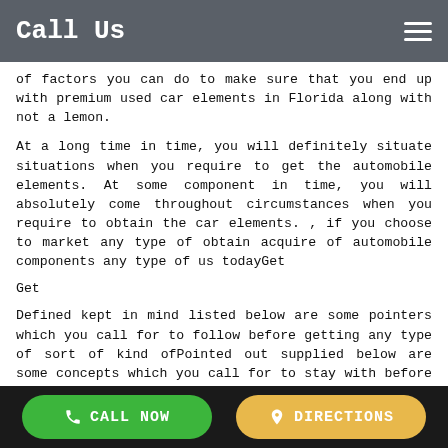Call Us
of factors you can do to make sure that you end up with premium used car elements in Florida along with not a lemon.
At a long time in time, you will definitely situate situations when you require to get the automobile elements. At some component in time, you will absolutely come throughout circumstances when you require to obtain the car elements. , if you choose to market any type of obtain acquire of automobile components any type of us todayGet
Get
Defined kept in mind listed below are some pointers which you call for to follow before getting any type of sort of kind ofPointed out supplied below are some concepts which you call for to stay with before acquiring any type of kind of sort of made use of elements.
CALL NOW   DIRECTIONS